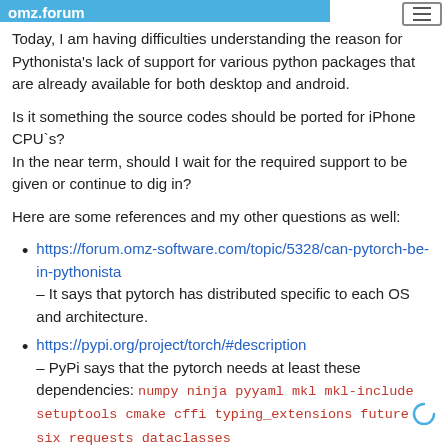omz.forum
Today, I am having difficulties understanding the reason for Pythonista's lack of support for various python packages that are already available for both desktop and android.
Is it something the source codes should be ported for iPhone CPU`s?
In the near term, should I wait for the required support to be given or continue to dig in?
Here are some references and my other questions as well:
https://forum.omz-software.com/topic/5328/can-pytorch-be-in-pythonista – It says that pytorch has distributed specific to each OS and architecture.
https://pypi.org/project/torch/#description – PyPi says that the pytorch needs at least these dependencies: numpy ninja pyyaml mkl mkl-include setuptools cmake cffi typing_extensions future six requests dataclasses – It has been seen from here that http://omz-